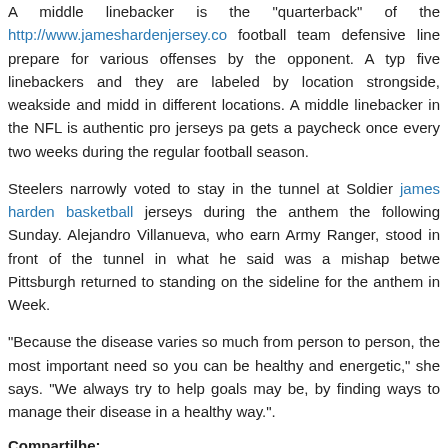A middle linebacker is the "quarterback" of the http://www.jameshardenjersey.co football team defensive line prepare for various offenses by the opponent. A typical team has three to five linebackers and they are labeled by location strongside, weakside and middle. They play in different locations. A middle linebacker in the NFL is authentic pro jerseys pa gets a paycheck once every two weeks during the regular football season.
Steelers narrowly voted to stay in the tunnel at Soldier james harden basketball jerseys during the anthem the following Sunday. Alejandro Villanueva, who earn Army Ranger, stood in front of the tunnel in what he said was a mishap betwe Pittsburgh returned to standing on the sideline for the anthem in Week.
“Because the disease varies so much from person to person, the most important need so you can be healthy and energetic,” she says. “We always try to help goals may be, by finding ways to manage their disease in a healthy way.”.
Compartilhe:
Tweet
[Figure (other): Social sharing icons: Facebook, Twitter, Email, Blogger, Delicious, LinkedIn]
Tags: best basketball kits, buy cheap nfl jerseys, custom authentic nfl jerseys, cu nba basketball tops
Posts Relacionados
» “Matchup Betting” generally involves an indiv
» Olivia Piccirilli also scored for the Cavalie